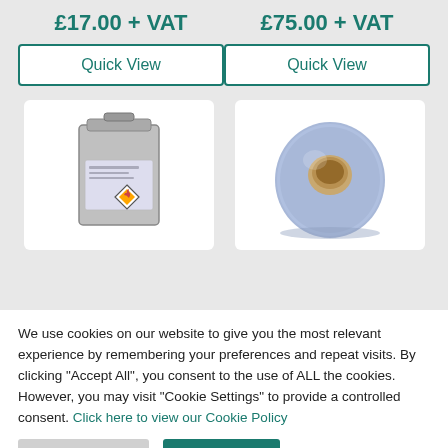£17.00 + VAT
£75.00 + VAT
Quick View
Quick View
[Figure (photo): Metal canister/tin with hazard label on front]
[Figure (photo): Blue paper roll (industrial wipe roll) standing upright]
We use cookies on our website to give you the most relevant experience by remembering your preferences and repeat visits. By clicking “Accept All”, you consent to the use of ALL the cookies. However, you may visit "Cookie Settings" to provide a controlled consent. Click here to view our Cookie Policy
Cookie Settings
Accept All